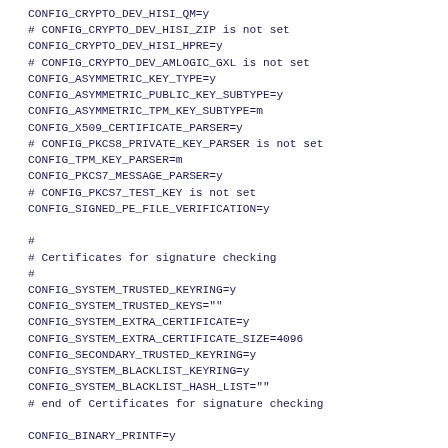CONFIG_CRYPTO_DEV_HISI_QM=y
# CONFIG_CRYPTO_DEV_HISI_ZIP is not set
CONFIG_CRYPTO_DEV_HISI_HPRE=y
# CONFIG_CRYPTO_DEV_AMLOGIC_GXL is not set
CONFIG_ASYMMETRIC_KEY_TYPE=y
CONFIG_ASYMMETRIC_PUBLIC_KEY_SUBTYPE=y
CONFIG_ASYMMETRIC_TPM_KEY_SUBTYPE=m
CONFIG_X509_CERTIFICATE_PARSER=y
# CONFIG_PKCS8_PRIVATE_KEY_PARSER is not set
CONFIG_TPM_KEY_PARSER=m
CONFIG_PKCS7_MESSAGE_PARSER=y
# CONFIG_PKCS7_TEST_KEY is not set
CONFIG_SIGNED_PE_FILE_VERIFICATION=y

#
# Certificates for signature checking
#
CONFIG_SYSTEM_TRUSTED_KEYRING=y
CONFIG_SYSTEM_TRUSTED_KEYS=""
CONFIG_SYSTEM_EXTRA_CERTIFICATE=y
CONFIG_SYSTEM_EXTRA_CERTIFICATE_SIZE=4096
CONFIG_SECONDARY_TRUSTED_KEYRING=y
CONFIG_SYSTEM_BLACKLIST_KEYRING=y
CONFIG_SYSTEM_BLACKLIST_HASH_LIST=""
# end of Certificates for signature checking

CONFIG_BINARY_PRINTF=y

#
# Library routines